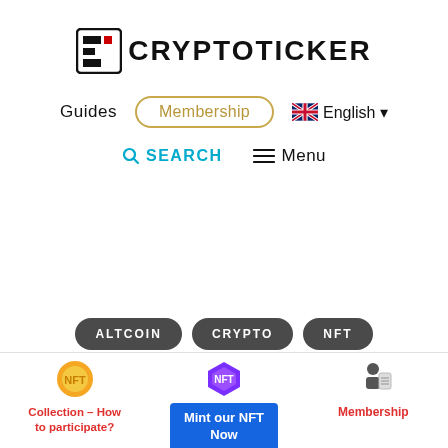[Figure (logo): CryptoTicker logo with stylized C icon and bold uppercase text CRYPTOTICKER]
Guides  Membership  English
SEARCH  Menu
ALTCOIN
CRYPTO
NFT
[Figure (logo): NFT coin icon - orange/gold circle with NFT text]
Collection – How to participate?
[Figure (logo): NFT purple hexagon icon]
Mint our NFT Now
[Figure (illustration): Membership person with document icon]
Membership